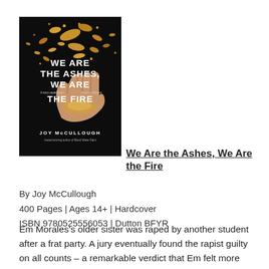[Figure (illustration): Book cover of 'We Are the Ashes, We Are the Fire' by Joy McCullough. Dark/black background with gold/yellow particles or embers floating upward from a hand. White bold serif/sans text for title and author name.]
We Are the Ashes, We Are the Fire
By Joy McCullough
400 Pages | Ages 14+ | Hardcover
ISBN 9780525556053 | Dutton BFYR
Em Morales's older sister was raped by another student after a frat party. A jury eventually found the rapist guilty on all counts – a remarkable verdict that Em felt more than a little responsible for, since she was her sister's strongest advocate on social media during the trial. Her